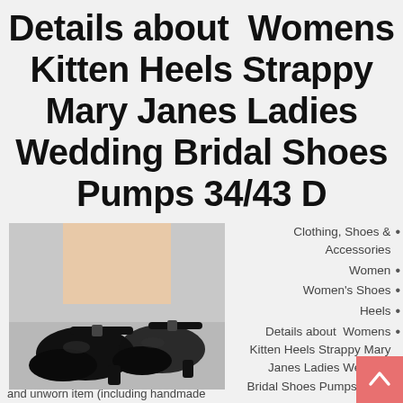Details about  Womens Kitten Heels Strappy Mary Janes Ladies Wedding Bridal Shoes Pumps 34/43 D
[Figure (photo): Black patent leather kitten heel Mary Jane shoes with ankle strap and buckle, shown from the side on a light background]
Clothing, Shoes & Accessories
Women
Women's Shoes
Heels
Details about  Womens Kitten Heels Strappy Mary Janes Ladies Wedding Bridal Shoes Pumps 34/43 D
and unworn item (including handmade